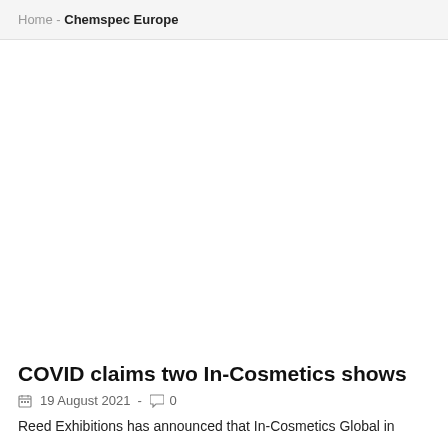Home - Chemspec Europe
[Figure (photo): Large white/blank image area placeholder for an article image]
COVID claims two In-Cosmetics shows
19 August 2021  -  0
Reed Exhibitions has announced that In-Cosmetics Global in